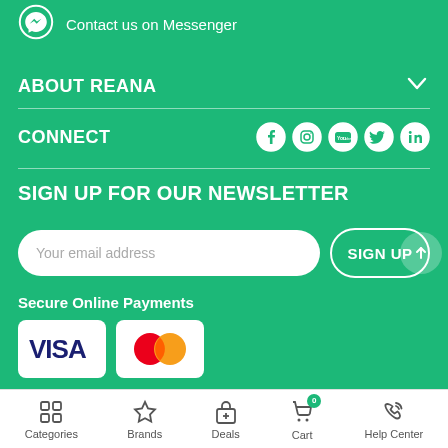Contact us on Messenger
ABOUT REANA
CONNECT
SIGN UP FOR OUR NEWSLETTER
Your email address
SIGN UP
Secure Online Payments
Categories | Brands | Deals | Cart | Help Center